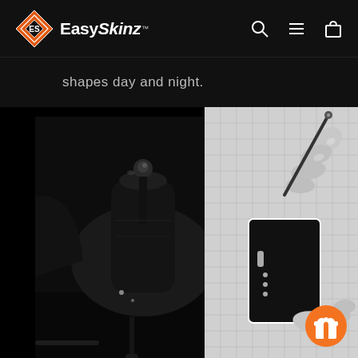[Figure (logo): EasySkinz logo with diamond shape and brand name, navigation bar with search, hamburger menu, and cart icons]
shapes day and night.
[Figure (photo): Left: black and white photo of a car interior gear shift. Right: black and white photo of hands cutting/trimming a vinyl skin template on a cutting mat.]
[Figure (illustration): Orange circular reward/gift button with gift box icon in bottom right corner]